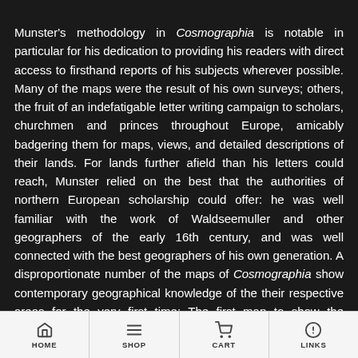Munster's methodology in Cosmographia is notable in particular for his dedication to providing his readers with direct access to firsthand reports of his subjects wherever possible. Many of the maps were the result of his own surveys; others, the fruit of an indefatigable letter writing campaign to scholars, churchmen and princes throughout Europe, amicably badgering them for maps, views, and detailed descriptions of their lands. For lands further afield than his letters could reach, Munster relied on the best that the authorities of northern European scholarship could offer: he was well familiar with the work of Waldseemuller and other geographers of the early 16th century, and was well connected with the best geographers of his own generation. A disproportionate number of the maps of Cosmographia show contemporary geographical knowledge of the their respective areas for the very first time: The first map to show the continents of the W...
HOME | SHOP | CART | LINKS